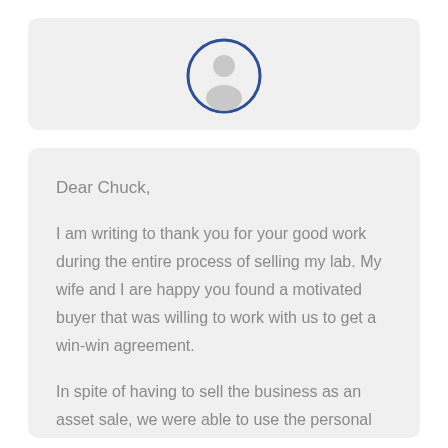[Figure (illustration): Circular avatar silhouette of a person with a blue border outline, on a light gray rounded card background]
Dear Chuck,
I am writing to thank you for your good work during the entire process of selling my lab. My wife and I are happy you found a motivated buyer that was willing to work with us to get a win-win agreement.
In spite of having to sell the business as an asset sale, we were able to use the personal goodwill approach you suggested. When we file our estimated tax return this will save us $40,000 or